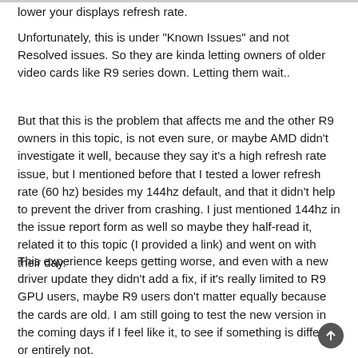lower your displays refresh rate.
Unfortunately, this is under "Known Issues" and not Resolved issues. So they are kinda letting owners of older video cards like R9 series down. Letting them wait..
But that this is the problem that affects me and the other R9 owners in this topic, is not even sure, or maybe AMD didn't investigate it well, because they say it's a high refresh rate issue, but I mentioned before that I tested a lower refresh rate (60 hz) besides my 144hz default, and that it didn't help to prevent the driver from crashing. I just mentioned 144hz in the issue report form as well so maybe they half-read it, related it to this topic (I provided a link) and went on with their day.
This experience keeps getting worse, and even with a new driver update they didn't add a fix, if it's really limited to R9 GPU users, maybe R9 users don't matter equally because the cards are old. I am still going to test the new version in the coming days if I feel like it, to see if something is different or entirely not.